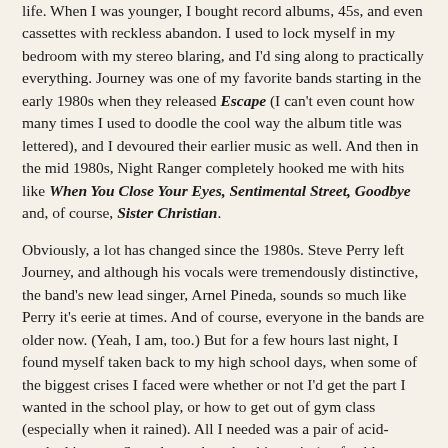life. When I was younger, I bought record albums, 45s, and even cassettes with reckless abandon. I used to lock myself in my bedroom with my stereo blaring, and I'd sing along to practically everything. Journey was one of my favorite bands starting in the early 1980s when they released Escape (I can't even count how many times I used to doodle the cool way the album title was lettered), and I devoured their earlier music as well. And then in the mid 1980s, Night Ranger completely hooked me with hits like When You Close Your Eyes, Sentimental Street, Goodbye and, of course, Sister Christian.
Obviously, a lot has changed since the 1980s. Steve Perry left Journey, and although his vocals were tremendously distinctive, the band's new lead singer, Arnel Pineda, sounds so much like Perry it's eerie at times. And of course, everyone in the bands are older now. (Yeah, I am, too.) But for a few hours last night, I found myself taken back to my high school days, when some of the biggest crises I faced were whether or not I'd get the part I wanted in the school play, or how to get out of gym class (especially when it rained). All I needed was a pair of acid-washed jeans, a Swatch watch and a skinny tie (preferably a leather one), and it would have been just like 1985.